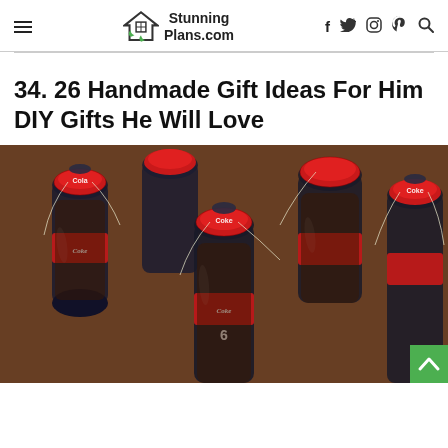StunningPlans.com — navigation header with hamburger menu, logo, and social icons (f, twitter, instagram, pinterest, search)
34. 26 Handmade Gift Ideas For Him DIY Gifts He Will Love
[Figure (photo): Close-up photo of multiple glass Coca-Cola bottles with red caps and tags, viewed from above at an angle, arranged together on a wooden surface.]